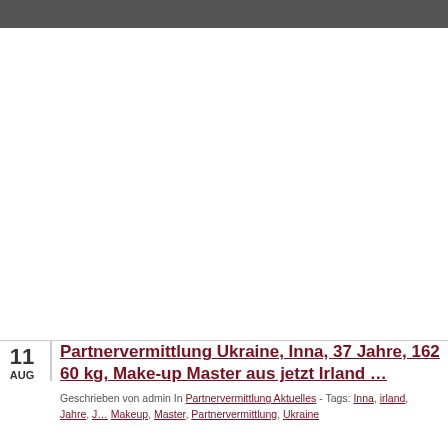Partnervermittlung Ukraine, Inna, 37 Jahre, 162 60 kg, Make-up Master aus jetzt Irland …
Geschrieben von admin In Partnervermittlung Aktuelles - Tags: Inna, irland, Jahre, J… Makeup, Master, Partnervermittlung, Ukraine